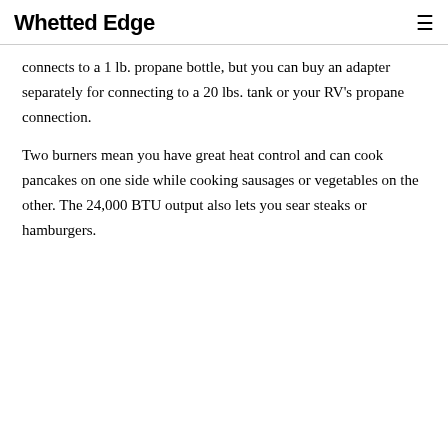Whetted Edge
connects to a 1 lb. propane bottle, but you can buy an adapter separately for connecting to a 20 lbs. tank or your RV’s propane connection.
Two burners mean you have great heat control and can cook pancakes on one side while cooking sausages or vegetables on the other. The 24,000 BTU output also lets you sear steaks or hamburgers.